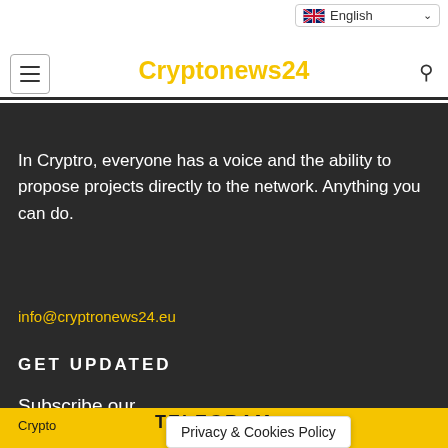Cryptonews24
In Cryptro, everyone has a voice and the ability to propose projects directly to the network. Anything you can do.
info@cryptronews24.eu
GET UPDATED
Subscribe our
TELEGRAM
Privacy & Cookies Policy